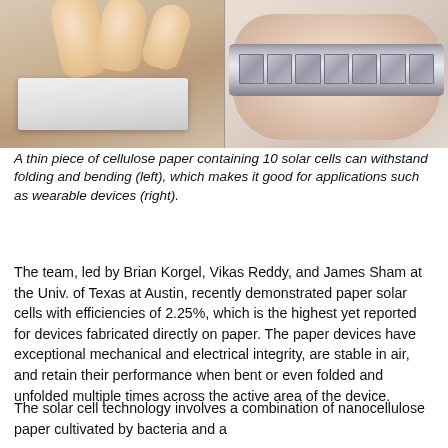[Figure (photo): Two-panel photo: left panel shows fingers folding/bending a thin piece of paper containing solar cells; right panel shows the same paper wrapped around a wrist as a bracelet-like wearable device.]
A thin piece of cellulose paper containing 10 solar cells can withstand folding and bending (left), which makes it good for applications such as wearable devices (right).
The team, led by Brian Korgel, Vikas Reddy, and James Sham at the Univ. of Texas at Austin, recently demonstrated paper solar cells with efficiencies of 2.25%, which is the highest yet reported for devices fabricated directly on paper. The paper devices have exceptional mechanical and electrical integrity, are stable in air, and retain their performance when bent or even folded and unfolded multiple times across the active area of the device.
The solar cell technology involves a combination of nanocellulose paper cultivated by bacteria and a